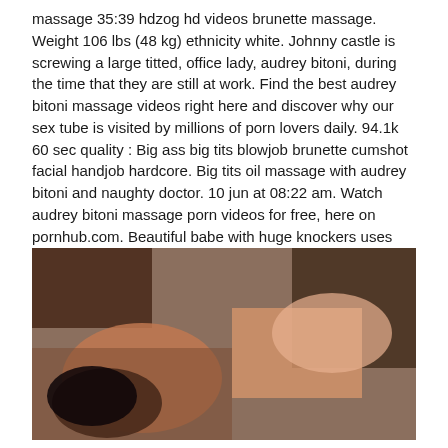massage 35:39 hdzog hd videos brunette massage. Weight 106 lbs (48 kg) ethnicity white. Johnny castle is screwing a large titted, office lady, audrey bitoni, during the time that they are still at work. Find the best audrey bitoni massage videos right here and discover why our sex tube is visited by millions of porn lovers daily. 94.1k 60 sec quality : Big ass big tits blowjob brunette cumshot facial handjob hardcore. Big tits oil massage with audrey bitoni and naughty doctor. 10 jun at 08:22 am. Watch audrey bitoni massage porn videos for free, here on pornhub.com. Beautiful babe with huge knockers uses her perfect feet to make a guy cum. Rigorous audrey bitoni makes her blonde girl shawna lenee to fuck her and to ride strap on.
[Figure (photo): A photograph showing a massage scene with a woman lying face down and hands performing a massage on her back.]